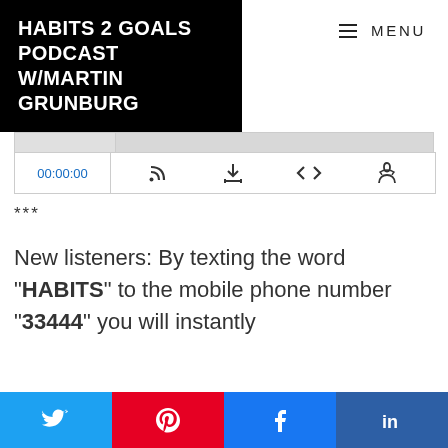HABITS 2 GOALS PODCAST W/MARTIN GRUNBURG
MENU
[Figure (screenshot): Audio podcast player widget with timestamp 00:00:00 and control icons (RSS, download, embed code, clapper)]
***
New listeners: By texting the word "HABITS" to the mobile phone number "33444" you will instantly
[Figure (infographic): Social sharing buttons: Twitter (blue), Pinterest (red), Facebook (blue), LinkedIn (dark blue)]